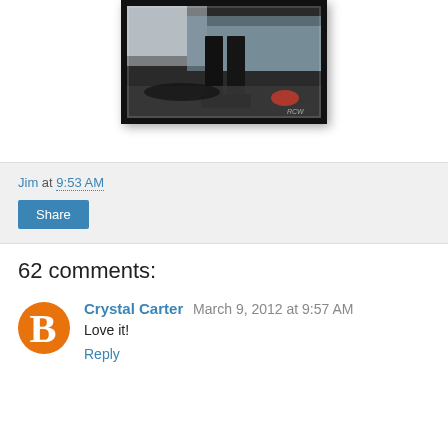[Figure (photo): Dark photograph showing a person's legs and feet standing on pavement, with a bright outdoor background and a red object visible to the right. Image has a thick dark border/frame.]
Jim at 9:53 AM
Share
62 comments:
Crystal Carter  March 9, 2012 at 9:57 AM
Love it!
Reply